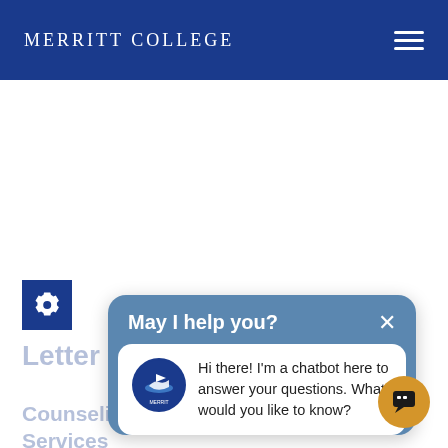MERRITT COLLEGE
[Figure (screenshot): Merritt College website screenshot showing a chatbot popup overlay with 'May I help you?' header, a Merritt College logo avatar, and the message 'Hi there! I'm a chatbot here to answer your questions. What would you like to know?' A gear/settings icon is visible on the left. Behind the popup, partially visible text reads 'Letter from the Admission &' and 'Counseling Services & Support Services'.]